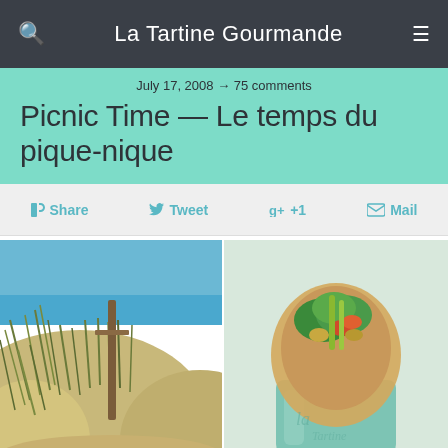La Tartine Gourmande
July 17, 2008 → 75 comments
Picnic Time — Le temps du pique-nique
Share  Tweet  +1  Mail
[Figure (photo): Two side-by-side photos: left shows sand dunes with tall grass and a wooden post, blue ocean in background; right shows a food wrap/crepe filled with greens, vegetables, served in a mint green paper cup.]